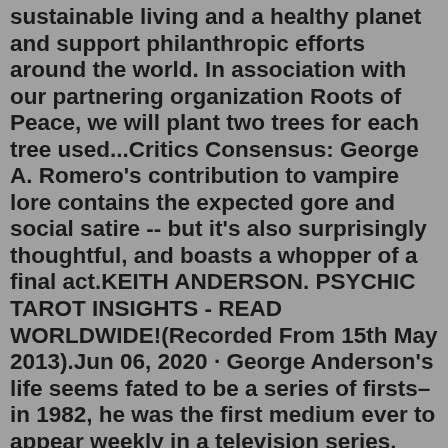sustainable living and a healthy planet and support philanthropic efforts around the world. In association with our partnering organization Roots of Peace, we will plant two trees for each tree used...Critics Consensus: George A. Romero's contribution to vampire lore contains the expected gore and social satire -- but it's also surprisingly thoughtful, and boasts a whopper of a final act.KEITH ANDERSON. PSYCHIC TAROT INSIGHTS - READ WORLDWIDE!(Recorded From 15th May 2013).Jun 06, 2020 · George Anderson's life seems fated to be a series of firsts–in 1982, he was the first medium ever to appear weekly in a television series. Psychic Channels revolutionized the way people thought about the concept of mediumship, and blazed a trail for other psychic shows to gain mainstream acceptance. George Anderson is considered by many to be the greatest medium living today. After more than 50 years of hearing from souls who have transitioned to the world hereafter, he is constantly reminded by those who have passed that our